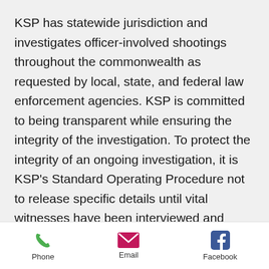KSP has statewide jurisdiction and investigates officer-involved shootings throughout the commonwealth as requested by local, state, and federal law enforcement agencies. KSP is committed to being transparent while ensuring the integrity of the investigation. To protect the integrity of an ongoing investigation, it is KSP's Standard Operating Procedure not to release specific details until vital witnesses have been interviewed and pertinent facts gathered. Timelines to complete investigations vary based on the complexity of the case.
[Figure (infographic): Footer with three contact icons: Phone (green phone icon), Email (pink envelope icon), Facebook (blue Facebook icon), each with a text label below.]